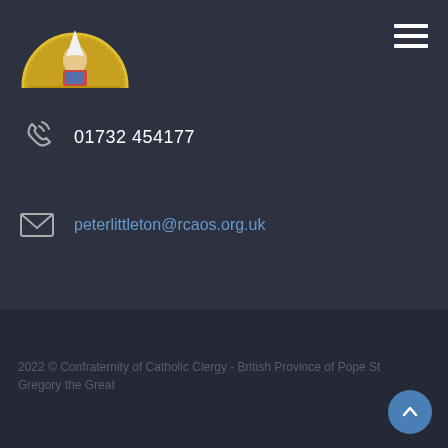[Figure (logo): Confraternity of Catholic Clergy logo - circular gold emblem with Pope figure]
[Figure (other): Hamburger menu icon (three horizontal white lines)]
01732 454177
peterlittleton@rcaos.org.uk
2022 © Confraternity of Catholic Clergy - British Province of Pope St Gregory the Great